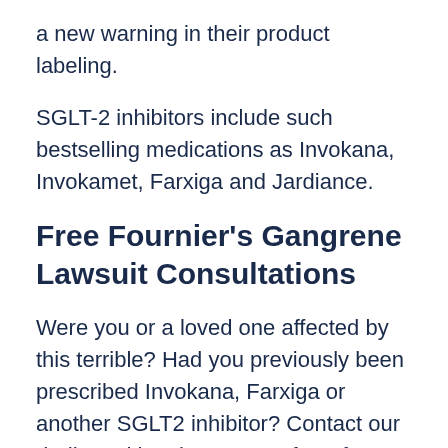a new warning in their product labeling.
SGLT-2 inhibitors include such bestselling medications as Invokana, Invokamet, Farxiga and Jardiance.
Free Fournier's Gangrene Lawsuit Consultations
Were you or a loved one affected by this terrible? Had you previously been prescribed Invokana, Farxiga or another SGLT2 inhibitor? Contact our dedicated legal team now for a free, no obligation